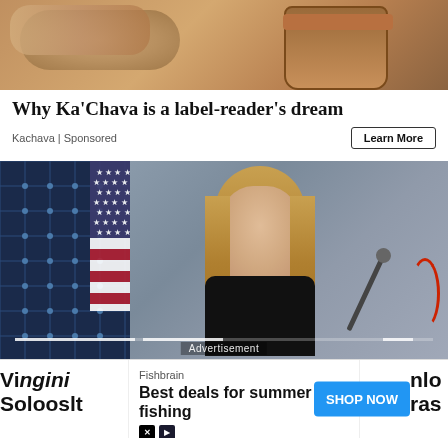[Figure (photo): Close-up photo of hands holding a cup with dark beverage (chocolate/coffee drink) from above]
Why Ka'Chava is a label-reader's dream
Kachava | Sponsored
Learn More
[Figure (photo): Photo of a woman with long blonde hair in a black blazer sitting at a table with a microphone, with a US flag and solar panel in the background. An 'Advertisement' label is overlaid at the bottom.]
Advertisement
Virginia
Solarsh
Fishbrain
Best deals for summer fishing
SHOP NOW
nlo
ras